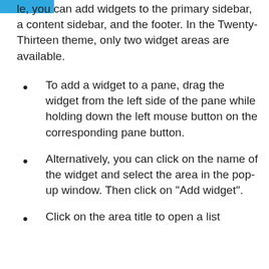le, you can add widgets to the primary sidebar, a content sidebar, and the footer. In the Twenty-Thirteen theme, only two widget areas are available.
To add a widget to a pane, drag the widget from the left side of the pane while holding down the left mouse button on the corresponding pane button.
Alternatively, you can click on the name of the widget and select the area in the pop-up window. Then click on "Add widget".
Click on the area title to open a list of the widgets in that area.